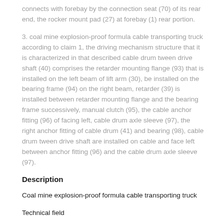connects with forebay by the connection seat (70) of its rear end, the rocker mount pad (27) at forebay (1) rear portion.
3. coal mine explosion-proof formula cable transporting truck according to claim 1, the driving mechanism structure that it is characterized in that described cable drum tween drive shaft (40) comprises the retarder mounting flange (93) that is installed on the left beam of lift arm (30), be installed on the bearing frame (94) on the right beam, retarder (39) is installed between retarder mounting flange and the bearing frame successively, manual clutch (95), the cable anchor fitting (96) of facing left, cable drum axle sleeve (97), the right anchor fitting of cable drum (41) and bearing (98), cable drum tween drive shaft are installed on cable and face left between anchor fitting (96) and the cable drum axle sleeve (97).
Description
Coal mine explosion-proof formula cable transporting truck
Technical field